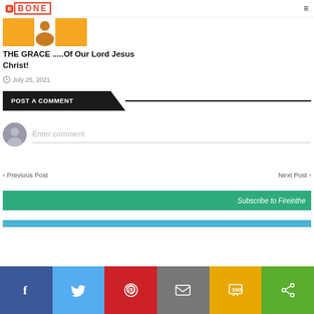BONE
[Figure (photo): Article thumbnail with orange and white background showing a person silhouette]
THE GRACE .....Of Our Lord Jesus Christ!
July 25, 2021
POST A COMMENT
Enter comment
< Previous Post
Next Post >
Subscribe to Fireinthe
[Figure (infographic): Social media share bar with Facebook, Twitter, Pinterest, Email, SMS, and Share buttons]